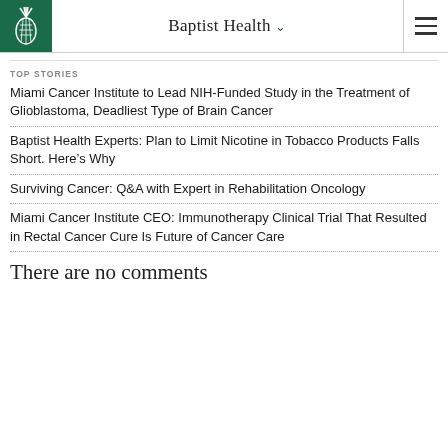[Figure (logo): Baptist Health logo: white pineapple on dark green background, with 'Baptist Health' text and dropdown arrow in header]
Baptist Health
TOP STORIES
Miami Cancer Institute to Lead NIH-Funded Study in the Treatment of Glioblastoma, Deadliest Type of Brain Cancer
Baptist Health Experts: Plan to Limit Nicotine in Tobacco Products Falls Short. Here's Why
Surviving Cancer: Q&A with Expert in Rehabilitation Oncology
Miami Cancer Institute CEO: Immunotherapy Clinical Trial That Resulted in Rectal Cancer Cure Is Future of Cancer Care
There are no comments